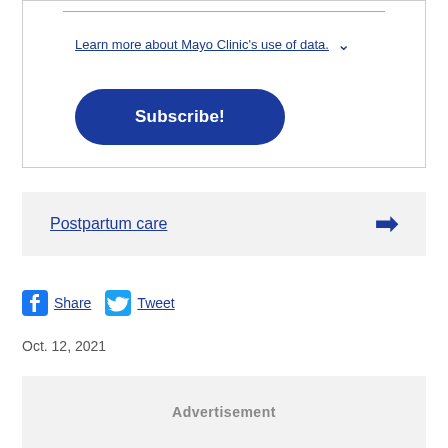Learn more about Mayo Clinic's use of data.
[Figure (other): Subscribe button - blue rounded pill button with white text 'Subscribe!']
Postpartum care
Share   Tweet
Oct. 12, 2021
Advertisement